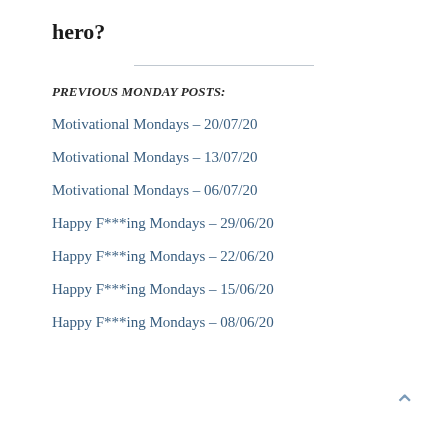hero?
PREVIOUS MONDAY POSTS:
Motivational Mondays – 20/07/20
Motivational Mondays – 13/07/20
Motivational Mondays – 06/07/20
Happy F***ing Mondays – 29/06/20
Happy F***ing Mondays – 22/06/20
Happy F***ing Mondays – 15/06/20
Happy F***ing Mondays – 08/06/20